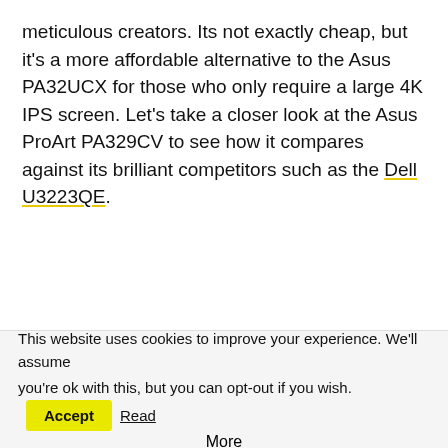meticulous creators. Its not exactly cheap, but it's a more affordable alternative to the Asus PA32UCX for those who only require a large 4K IPS screen. Let's take a closer look at the Asus ProArt PA329CV to see how it compares against its brilliant competitors such as the Dell U3223QE.
This website uses cookies to improve your experience. We'll assume you're ok with this, but you can opt-out if you wish. Accept Read More